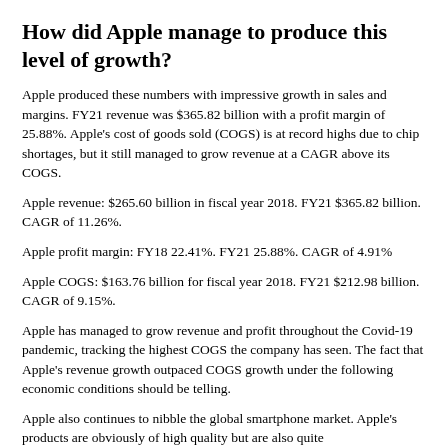How did Apple manage to produce this level of growth?
Apple produced these numbers with impressive growth in sales and margins. FY21 revenue was $365.82 billion with a profit margin of 25.88%. Apple's cost of goods sold (COGS) is at record highs due to chip shortages, but it still managed to grow revenue at a CAGR above its COGS.
Apple revenue: $265.60 billion in fiscal year 2018. FY21 $365.82 billion. CAGR of 11.26%.
Apple profit margin: FY18 22.41%. FY21 25.88%. CAGR of 4.91%
Apple COGS: $163.76 billion for fiscal year 2018. FY21 $212.98 billion. CAGR of 9.15%.
Apple has managed to grow revenue and profit throughout the Covid-19 pandemic, tracking the highest COGS the company has seen. The fact that Apple's revenue growth outpaced COGS growth under the following economic conditions should be telling.
Apple also continues to nibble the global smartphone market. Apple's products are obviously of high quality but are also quite